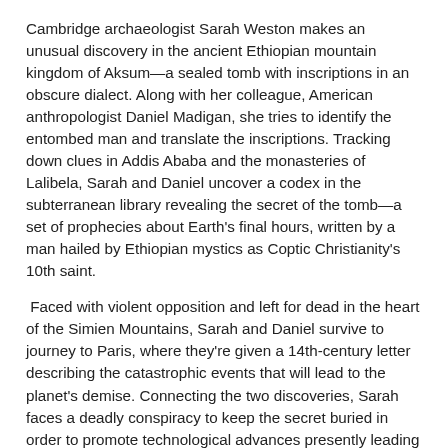Cambridge archaeologist Sarah Weston makes an unusual discovery in the ancient Ethiopian mountain kingdom of Aksum—a sealed tomb with inscriptions in an obscure dialect. Along with her colleague, American anthropologist Daniel Madigan, she tries to identify the entombed man and translate the inscriptions. Tracking down clues in Addis Ababa and the monasteries of Lalibela, Sarah and Daniel uncover a codex in the subterranean library revealing the secret of the tomb—a set of prophecies about Earth's final hours, written by a man hailed by Ethiopian mystics as Coptic Christianity's 10th saint.
Faced with violent opposition and left for dead in the heart of the Simien Mountains, Sarah and Daniel survive to journey to Paris, where they're given a 14th-century letter describing the catastrophic events that will lead to the planet's demise. Connecting the two discoveries, Sarah faces a deadly conspiracy to keep the secret buried in order to promote technological advances presently leading toward the prophesied end of the Earth.